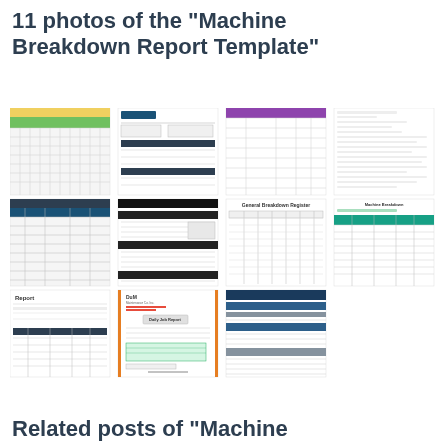11 photos of the "Machine Breakdown Report Template"
[Figure (screenshot): Grid of 11 thumbnail screenshots showing various Machine Breakdown Report Template formats including spreadsheets, forms, and tables with different color schemes]
Related posts of "Machine